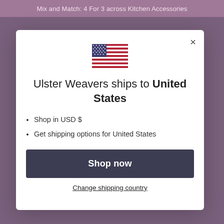Mix and Match: 4 For 3 across Kitchen Accessories
[Figure (illustration): US flag SVG inline icon]
Ulster Weavers ships to United States
Shop in USD $
Get shipping options for United States
Shop now
Change shipping country